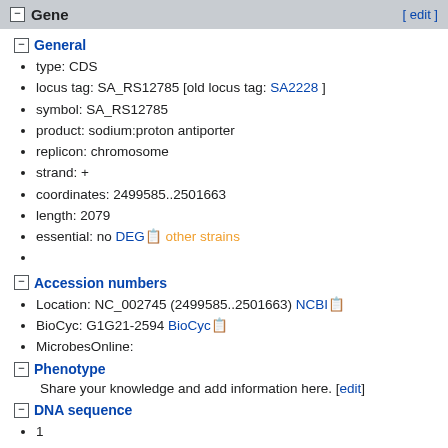Gene [ edit ]
General
type: CDS
locus tag: SA_RS12785 [old locus tag: SA2228 ]
symbol: SA_RS12785
product: sodium:proton antiporter
replicon: chromosome
strand: +
coordinates: 2499585..2501663
length: 2079
essential: no DEG other strains
Accession numbers
Location: NC_002745 (2499585..2501663) NCBI
BioCyc: G1G21-2594 BioCyc
MicrobesOnline:
Phenotype
Share your knowledge and add information here. [edit]
DNA sequence
1